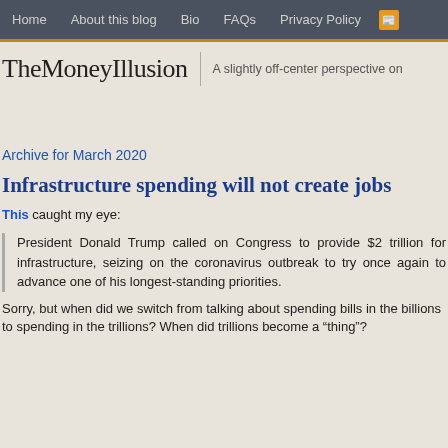Home | About this blog | Bio | FAQs | Privacy Policy | RSS
TheMoneyIllusion
A slightly off-center perspective on
Archive for March 2020
Infrastructure spending will not create jobs
This caught my eye:
President Donald Trump called on Congress to provide $2 trillion for infrastructure, seizing on the coronavirus outbreak to try once again to advance one of his longest-standing priorities.
Sorry, but when did we switch from talking about spending bills in the billions to spending in the trillions? When did trillions become a “thing”?